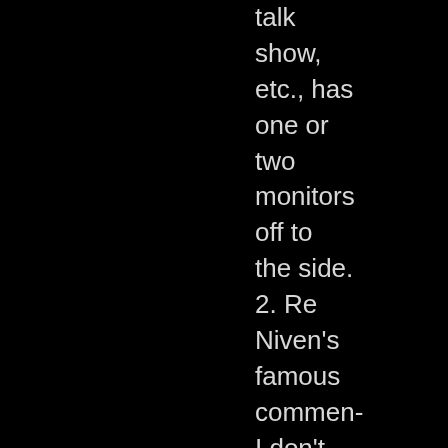talk show, etc., has one or two monitors off to the side. 2. Re Niven's famous commen- I don't find it witty at all. Brevity is the soul of wit and his commen is